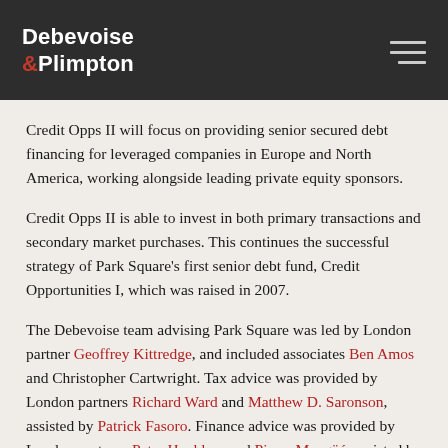Debevoise & Plimpton
Credit Opps II will focus on providing senior secured debt financing for leveraged companies in Europe and North America, working alongside leading private equity sponsors.
Credit Opps II is able to invest in both primary transactions and secondary market purchases. This continues the successful strategy of Park Square’s first senior debt fund, Credit Opportunities I, which was raised in 2007.
The Debevoise team advising Park Square was led by London partner Geoffrey Kittredge, and included associates Ben Amos and Christopher Cartwright. Tax advice was provided by London partners Richard Ward and Matthew D. Saronson, assisted by Patrick Fasoro. Finance advice was provided by London partners Peter Hockless and Pierre Maugüé, assisted by international counsel Nathan Parker and associate Vikas Mehta.